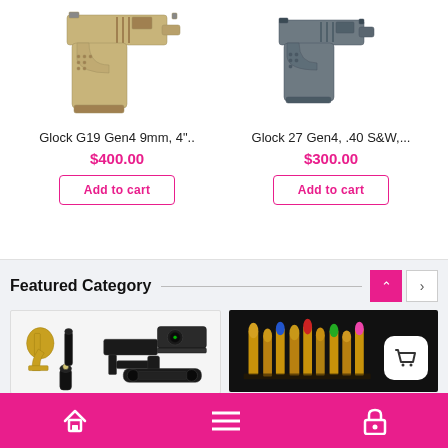[Figure (photo): Tan/FDE Glock G19 Gen4 pistol, partial view showing grip and slide]
Glock G19 Gen4 9mm, 4"..
$400.00
Add to cart
[Figure (photo): Gray Glock 27 Gen4 pistol partial view]
Glock 27 Gen4, .40 S&W,...
$300.00
Add to cart
Featured Category
[Figure (photo): Gun accessories including trigger mechanism, collapsible stock, red dot sight, scope, and flashlight on white background]
[Figure (photo): Various ammunition bullets standing upright on dark background with shopping bag overlay icon]